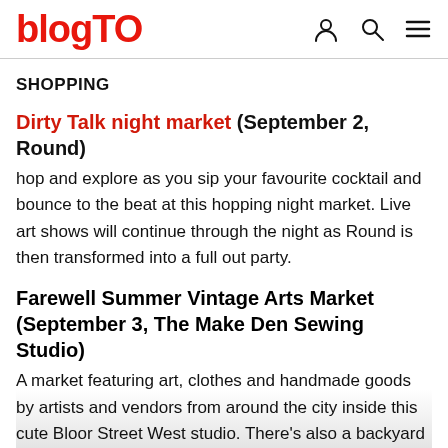blogTO
SHOPPING
Dirty Talk night market (September 2, Round) hop and explore as you sip your favourite cocktail and bounce to the beat at this hopping night market. Live art shows will continue through the night as Round is then transformed into a full out party.
Farewell Summer Vintage Arts Market (September 3, The Make Den Sewing Studio) A market featuring art, clothes and handmade goods by artists and vendors from around the city inside this cute Bloor Street West studio. There's also a backyard patio party with cheap and fun booze.